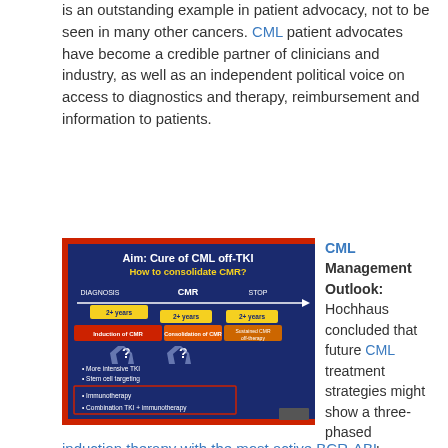is an outstanding example in patient advocacy, not to be seen in many other cancers. CML patient advocates have become a credible partner of clinicians and industry, as well as an independent political voice on access to diagnostics and therapy, reimbursement and information to patients.
[Figure (infographic): Slide showing 'Aim: Cure of CML off-TKI – How to consolidate CMR?' with a timeline from Diagnosis through CMR to STOP, showing phases: Induction of CMR (2+ years), Consolidation of CMR (2+ years), Sustained CMR off-therapy (2+ years). Below are bullet points: More intensive TKI, Stem cell targeting, Immunotherapy, Combination TKI + immunotherapy.]
CML Management Outlook: Hochhaus concluded that future CML treatment strategies might show a three-phased approach:
induction therapy with the most active BCR-ABL inhibitor or combinations until deep molecular response (MR4 or MR4.5) is achieved for more than 2 years,
then a response consolidation phase for 2 years, targeting residual disease with … toxicity profile,
followed by TKI disc… her without therapy or…